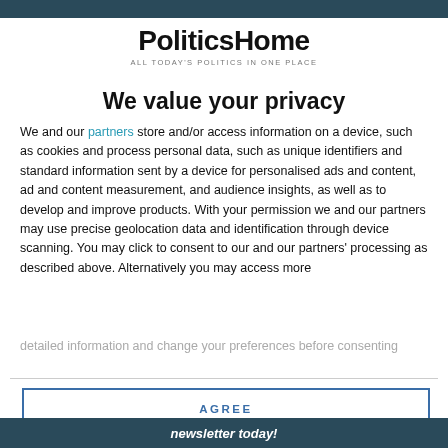[Figure (logo): PoliticsHome logo with tagline 'ALL TODAY'S POLITICS IN ONE PLACE']
We value your privacy
We and our partners store and/or access information on a device, such as cookies and process personal data, such as unique identifiers and standard information sent by a device for personalised ads and content, ad and content measurement, and audience insights, as well as to develop and improve products. With your permission we and our partners may use precise geolocation data and identification through device scanning. You may click to consent to our and our partners' processing as described above. Alternatively you may access more detailed information and change your preferences before consenting